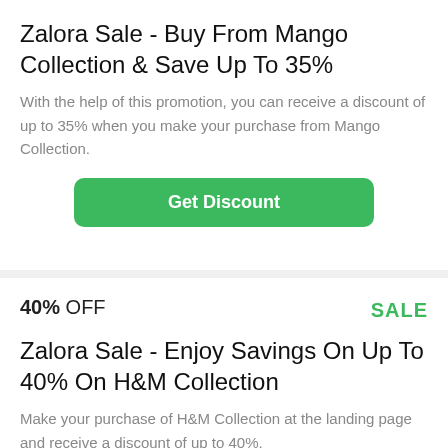Zalora Sale - Buy From Mango Collection & Save Up To 35%
With the help of this promotion, you can receive a discount of up to 35% when you make your purchase from Mango Collection.
Get Discount
40% OFF SALE
Zalora Sale - Enjoy Savings On Up To 40% On H&M Collection
Make your purchase of H&M Collection at the landing page and receive a discount of up to 40%.
Get Discount